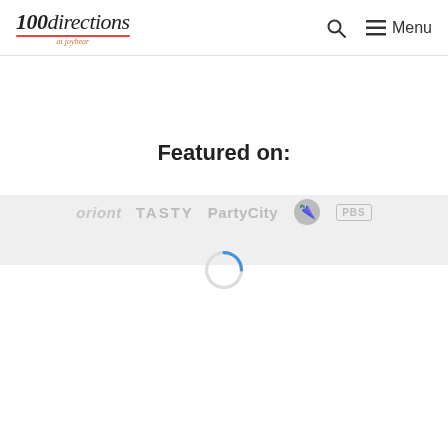100directions at joybear — Search Menu
Featured on:
[Figure (logo): Row of partner/featured logos: oriont, TASTY, PartyCity, umbrella icon, PBS — partially clipped, shown in gray]
[Figure (illustration): Blue circular loading spinner in center of page]